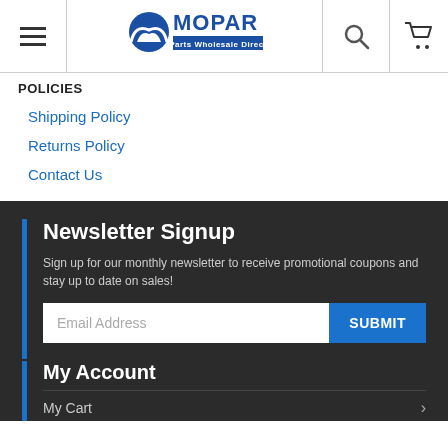Mopar Parts Wholesale Direct - Navigation header with hamburger menu, logo, search, and cart icons
POLICIES
Shipping Policy
Returns Policy
Contact Us
Newsletter Signup
Sign up for our monthly newsletter to receive promotional coupons and stay up to date on sales!
Email Address | SUBMIT
My Account
My Cart